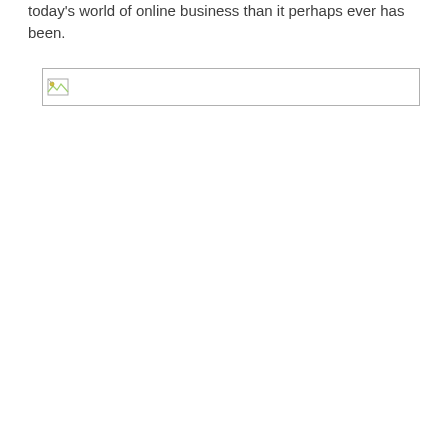today's world of online business than it perhaps ever has been.
[Figure (other): Broken/missing image placeholder — a small broken image icon in the top-left corner of a wide empty bordered rectangle.]